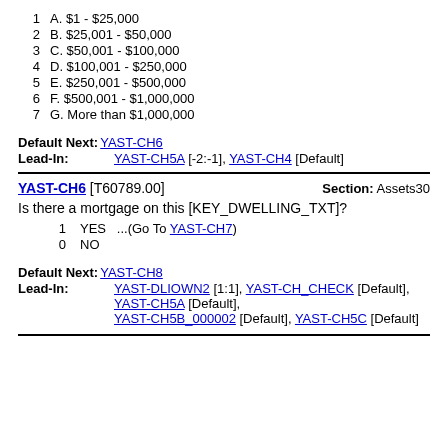1   A. $1 - $25,000
2   B. $25,001 - $50,000
3   C. $50,001 - $100,000
4   D. $100,001 - $250,000
5   E. $250,001 - $500,000
6   F. $500,001 - $1,000,000
7   G. More than $1,000,000
Default Next: YAST-CH6
Lead-In: YAST-CH5A [-2:-1], YAST-CH4 [Default]
YAST-CH6 [T60789.00]   Section: Assets30
Is there a mortgage on this [KEY_DWELLING_TXT]?
1   YES   ...(Go To YAST-CH7)
0   NO
Default Next: YAST-CH8
Lead-In: YAST-DLIOWN2 [1:1], YAST-CH_CHECK [Default], YAST-CH5A [Default], YAST-CH5B_000002 [Default], YAST-CH5C [Default]